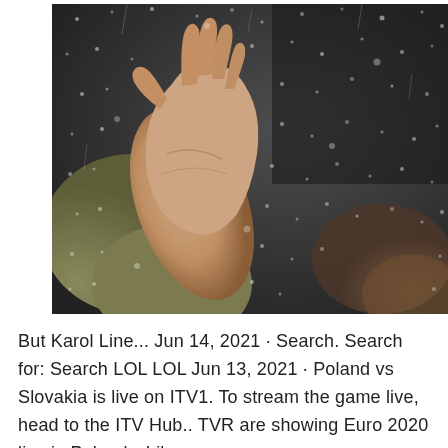[Figure (photo): A hand pressed against a rain-covered glass window, with a blurred figure visible behind the glass. The scene is moody with water droplets covering the surface.]
But Karol Line... Jun 14, 2021 · Search. Search for: Search LOL LOL Jun 13, 2021 · Poland vs Slovakia is live on ITV1. To stream the game live, head to the ITV Hub.. TVR are showing Euro 2020 live in Poland while